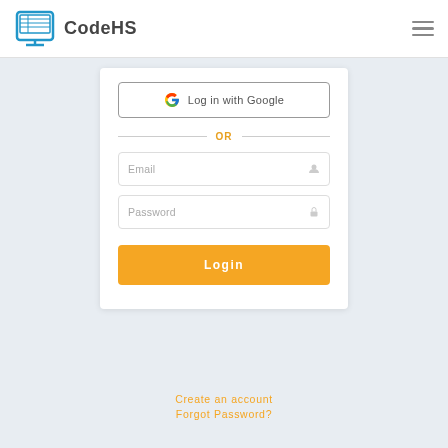[Figure (logo): CodeHS logo: blue monitor icon with grid lines and a screen, with bold text 'CodeHS' beside it]
[Figure (screenshot): Login page card with Google login button, OR divider, Email and Password input fields, and orange Login button]
Log in with Google
OR
Email
Password
Login
Create an account
Forgot Password?